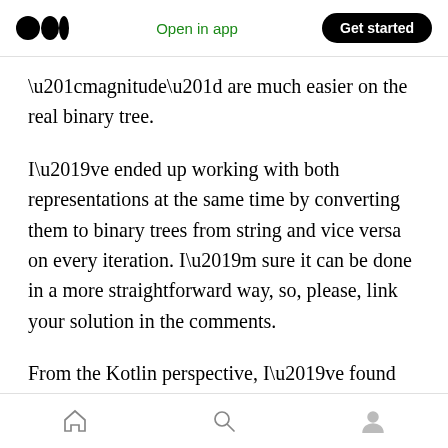Medium logo | Open in app | Get started
“magnitude” are much easier on the real binary tree.
I’ve ended up working with both representations at the same time by converting them to binary trees from string and vice versa on every iteration. I’m sure it can be done in a more straightforward way, so, please, link your solution in the comments.
From the Kotlin perspective, I’ve found sealed classes very useful to represent the binary tree (Node -> Pair<Number>)...
Home | Search | Profile